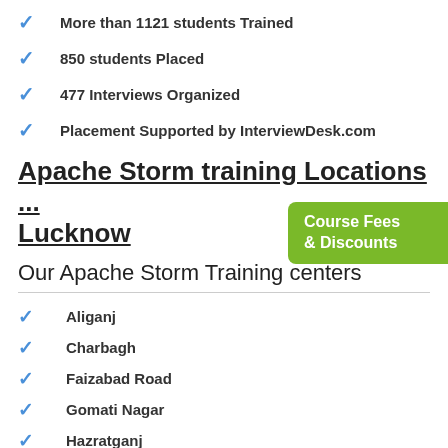More than 1121 students Trained
850 students Placed
477 Interviews Organized
Placement Supported by InterviewDesk.com
Apache Storm training Locations ... Lucknow
Our Apache Storm Training centers
Aliganj
Charbagh
Faizabad Road
Gomati Nagar
Hazratganj
Hussainganj
Indira Nagar Colony